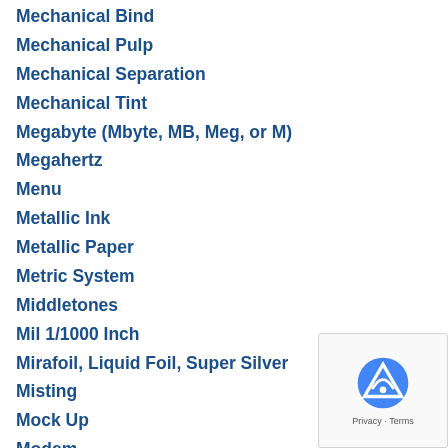Mechanical Bind
Mechanical Pulp
Mechanical Separation
Mechanical Tint
Megabyte (Mbyte, MB, Meg, or M)
Megahertz
Menu
Metallic Ink
Metallic Paper
Metric System
Middletones
Mil 1/1000 Inch
Mirafoil, Liquid Foil, Super Silver
Misting
Mock Up
Modem
Moire
Monarch
Monitor